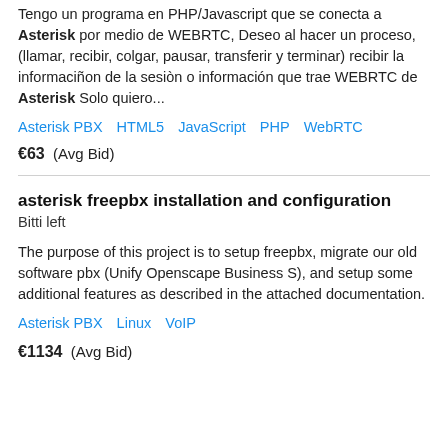Tengo un programa en PHP/Javascript que se conecta a Asterisk por medio de WEBRTC, Deseo al hacer un proceso, (llamar, recibir, colgar, pausar, transferir y terminar) recibir la informaciñon de la sesiòn o información que trae WEBRTC de Asterisk Solo quiero...
Asterisk PBX   HTML5   JavaScript   PHP   WebRTC
€63  (Avg Bid)
asterisk freepbx installation and configuration
Bitti left
The purpose of this project is to setup freepbx, migrate our old software pbx (Unify Openscape Business S), and setup some additional features as described in the attached documentation.
Asterisk PBX   Linux   VoIP
€1134  (Avg Bid)